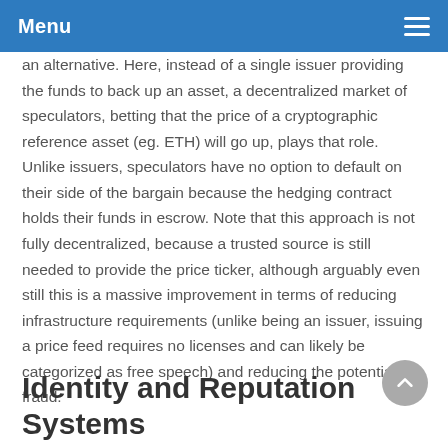Menu
an alternative. Here, instead of a single issuer providing the funds to back up an asset, a decentralized market of speculators, betting that the price of a cryptographic reference asset (eg. ETH) will go up, plays that role. Unlike issuers, speculators have no option to default on their side of the bargain because the hedging contract holds their funds in escrow. Note that this approach is not fully decentralized, because a trusted source is still needed to provide the price ticker, although arguably even still this is a massive improvement in terms of reducing infrastructure requirements (unlike being an issuer, issuing a price feed requires no licenses and can likely be categorized as free speech) and reducing the potential for fraud.
Identity and Reputation Systems